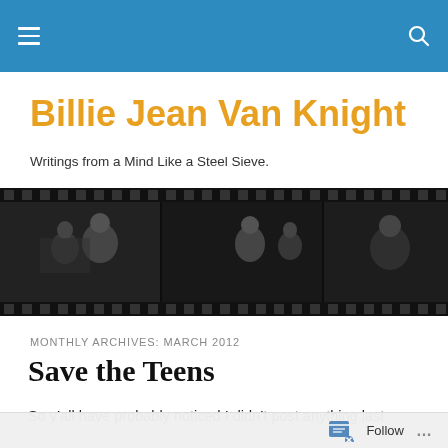Navigation bar with hamburger menu and search icon
Billie Jean Van Knight
Writings from a Mind Like a Steel Sieve.
[Figure (photo): Horizontal film strip with black and white photographs of people, showing sprocket holes along top and bottom edges]
MONTHLY ARCHIVES: MARCH 2012
Save the Teens
So y’all have probably noticed I didn’t post anything last
Follow …